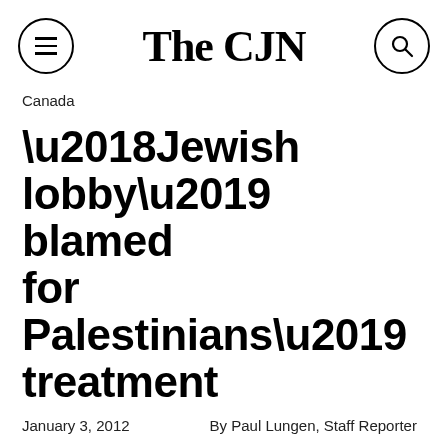The CJN
Canada
'Jewish lobby' blamed for Palestinians' treatment
January 3, 2012   By Paul Lungen, Staff Reporter
[Figure (photo): Partial photo of a person with dark hair against a blue background, cropped to show top of head and forehead only]